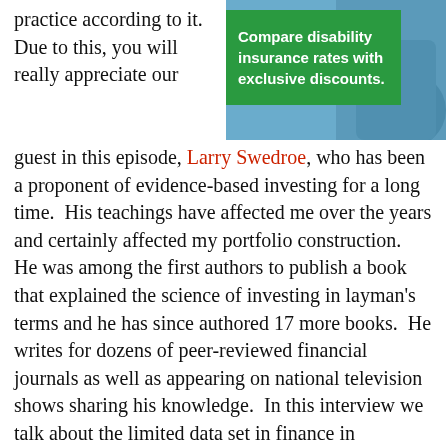practice according to it.  Due to this, you will really appreciate our
[Figure (illustration): Advertisement banner for disability insurance with a medical professional in blue scrubs. Green banner text reads: 'Compare disability insurance rates with exclusive discounts.']
guest in this episode, Larry Swedroe, who has been a proponent of evidence-based investing for a long time.  His teachings have affected me over the years and certainly affected my portfolio construction.  He was among the first authors to publish a book that explained the science of investing in layman's terms and he has since authored 17 more books.  He writes for dozens of peer-reviewed financial journals as well as appearing on national television shows sharing his knowledge.  In this interview we talk about the limited data set in finance in comparison to other, more scientific fields and how much we can rely on that retrospective data going forward.  We discuss portfolio construction, alternative asset classes, recommended